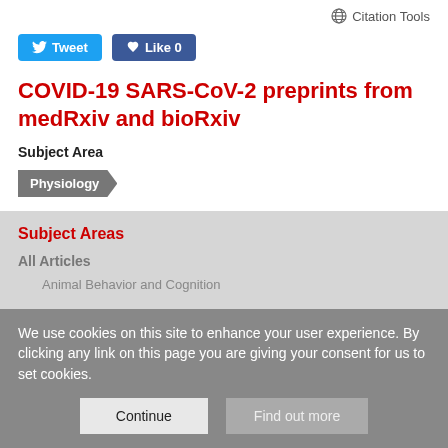Citation Tools
[Figure (other): Social sharing buttons: Tweet and Like 0]
COVID-19 SARS-CoV-2 preprints from medRxiv and bioRxiv
Subject Area
Physiology
Subject Areas
All Articles
Animal Behavior and Cognition
We use cookies on this site to enhance your user experience. By clicking any link on this page you are giving your consent for us to set cookies.